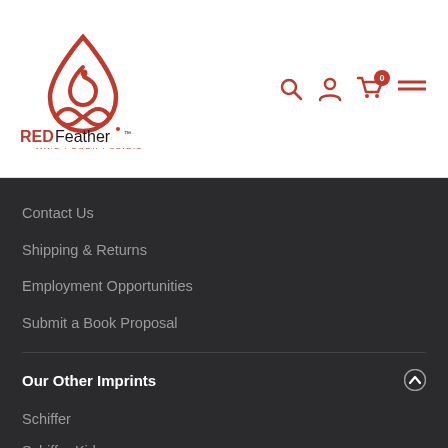[Figure (logo): REDFeather Mind | Body | Spirit logo with red feather/spiral droplet icon above infinity symbol, bold RED in red and Feather in black with TM superscript, tagline MIND | BODY | SPIRIT in red]
Contact Us
Shipping & Returns
Employment Opportunities
Submit a Book Proposal
Our Other Imprints
Schiffer
Schiffer Kids